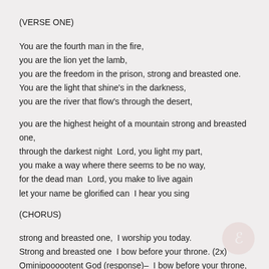(VERSE ONE)
You are the fourth man in the fire,
you are the lion yet the lamb,
you are the freedom in the prison, strong and breasted one.
You are the light that shine's in the darkness,
you are the river that flow's through the desert,
you are the highest height of a mountain strong and breasted one,
through the darkest night  Lord, you light my part,
you make a way where there seems to be no way,
for the dead man  Lord, you make to live again
let your name be glorified can  I hear you sing
(CHORUS)
strong and breasted one,  I worship you today.
Strong and breasted one  I bow before your throne. (2x)
Ominipoooootent God (response)–  I bow before your throne,
Omniscience God (response)  I bow before your throne